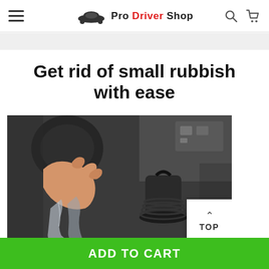Pro Driver Shop
Get rid of small rubbish with ease
[Figure (photo): A hand holding a plastic bag over a car trash can/bin, with a vehicle dashboard visible in the background.]
ADD TO CART